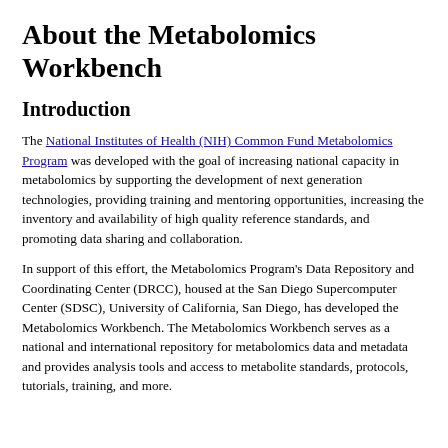About the Metabolomics Workbench
Introduction
The National Institutes of Health (NIH) Common Fund Metabolomics Program was developed with the goal of increasing national capacity in metabolomics by supporting the development of next generation technologies, providing training and mentoring opportunities, increasing the inventory and availability of high quality reference standards, and promoting data sharing and collaboration.
In support of this effort, the Metabolomics Program's Data Repository and Coordinating Center (DRCC), housed at the San Diego Supercomputer Center (SDSC), University of California, San Diego, has developed the Metabolomics Workbench. The Metabolomics Workbench serves as a national and international repository for metabolomics data and metadata and provides analysis tools and access to metabolite standards, protocols, tutorials, training, and more.